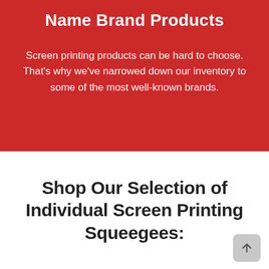Name Brand Products
Screen printing products can be hard to choose. That's why we've narrowed down our inventory to some of the most well-known brands.
Shop Our Selection of Individual Screen Printing Squeegees: